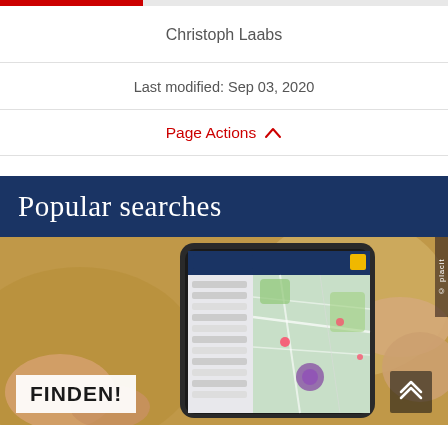Christoph Laabs
Last modified: Sep 03, 2020
Page Actions ∧
Popular searches
[Figure (photo): Hand holding a smartphone displaying a map application (FINDEN! app), with FINDEN! label overlay in bottom-left and scroll-up button in bottom-right. © placit watermark on right side.]